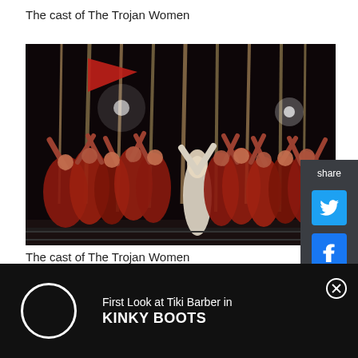The cast of The Trojan Women
[Figure (photo): Stage performance photo showing a large cast of The Trojan Women theatrical production. Many performers dressed in red costumes are raising their hands and holding tall poles/spears on a dark stage. A central performer in white stands out among the group with a red flag visible at the top.]
[Figure (infographic): Social share panel with Twitter and Facebook icons on dark grey background]
The cast of The Trojan Women
[Figure (infographic): Advertisement bar: First Look at Tiki Barber in KINKY BOOTS, black background with white circle loading icon and close button]